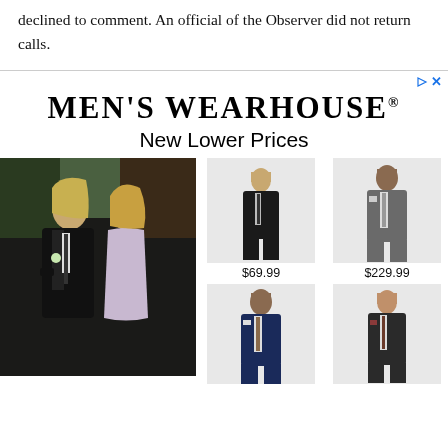declined to comment. An official of the Observer did not return calls.
[Figure (photo): Men's Wearhouse advertisement with brand logo, tagline 'New Lower Prices', a couple in formalwear on the left, and four product images of men's suits with prices $69.99 and $229.99]
$69.99
$229.99